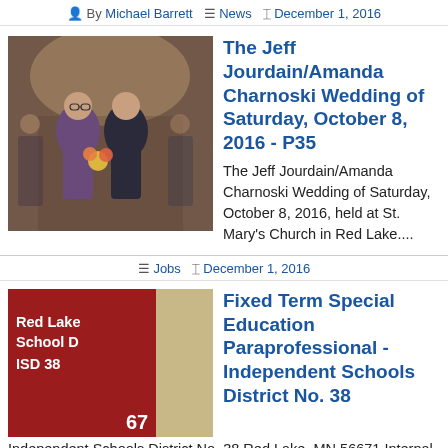By Michael Barrett  ≡ News  ▦ December 1, 2016
[Figure (photo): Wedding photo of Jeff Jourdain and Amanda Charnoski at St. Mary's Church in Red Lake]
The Jeff Jourdain/Amanda Charnoski Wedding of Saturday, October 8, 2016 - P35
The Jeff Jourdain/Amanda Charnoski Wedding of Saturday, October 8, 2016, held at St. Mary's Church in Red Lake....
≡ Jobs  ▦ December 1, 2016
[Figure (logo): Red Lake School District ISD 38 logo with red background and number 67]
Fixed Term Special Education Paraprofessional - Independent Schools District No. 38
Independent Schools District No. 38 Red Lake, MN 56671 Internal and External Posting 11/30/2016 – 12/11/2016 Position Description: Fixed Term Special Education Paraprofessional for the remainder of the 2016-17 School Year. Supervisor: Assigned special education instructor. Bargaining Group: